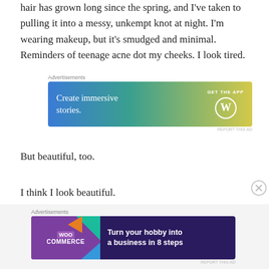hair has grown long since the spring, and I've taken to pulling it into a messy, unkempt knot at night. I'm wearing makeup, but it's smudged and minimal. Reminders of teenage acne dot my cheeks. I look tired.
[Figure (screenshot): WordPress 'Create immersive stories. GET THE APP' advertisement banner with gradient teal-yellow background and WordPress logo circle]
But beautiful, too.
I think I look beautiful.
[Figure (screenshot): WooCommerce advertisement: 'Turn your hobby into a business in 8 steps' on dark purple background with colorful triangle decorations]